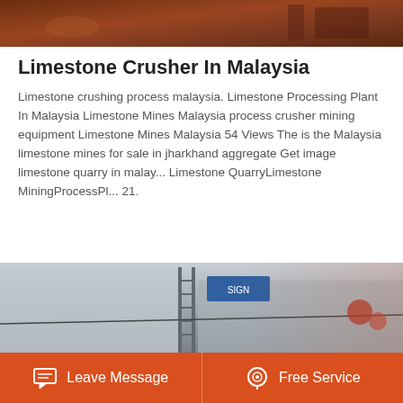[Figure (photo): Top portion of a dark reddish-brown industrial image, likely showing mining or crushing equipment]
Limestone Crusher In Malaysia
Limestone crushing process malaysia. Limestone Processing Plant In Malaysia Limestone Mines Malaysia process crusher mining equipment Limestone Mines Malaysia 54 Views The is the Malaysia limestone mines for sale in jharkhand aggregate Get image limestone quarry in malay... Limestone QuarryLimestone MiningProcessPl... 21.
Learn More
[Figure (photo): Bottom portion showing an industrial building exterior with a ladder, blue sign, and crane structure]
Leave Message   Free Service